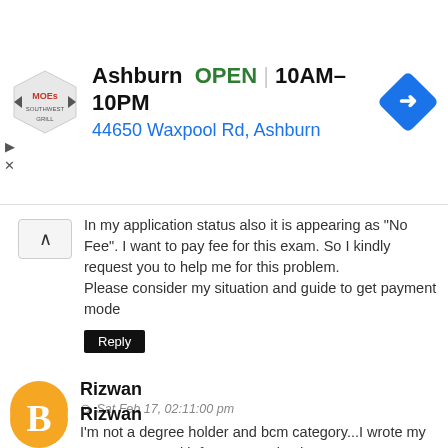[Figure (infographic): Advertisement banner for Moe's restaurant in Ashburn showing logo, OPEN status, hours (10AM-10PM), address (44650 Waxpool Rd, Ashburn), and a blue navigation arrow icon.]
In my application status also it is appearing as "No Fee". I want to pay fee for this exam. So I kindly request you to help me for this problem.
Please consider my situation and guide to get payment mode
Reply
Rizwan
Sat Feb 17, 02:11:00 pm
I'm not a degree holder and bcm category...I wrote my group 4 2018 with fee concession how come?...I'm confused that if really a degree is needed for fee concession..cause the instructions does not specify a degree holder any where....pls help me
Reply
Rizwan